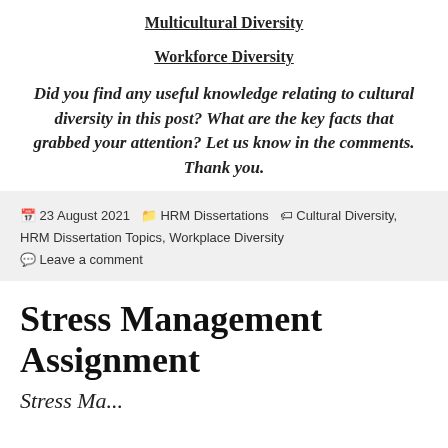Multicultural Diversity
Workforce Diversity
Did you find any useful knowledge relating to cultural diversity in this post? What are the key facts that grabbed your attention? Let us know in the comments. Thank you.
23 August 2021  HRM Dissertations  Cultural Diversity, HRM Dissertation Topics, Workplace Diversity  Leave a comment
Stress Management Assignment
Stress Management